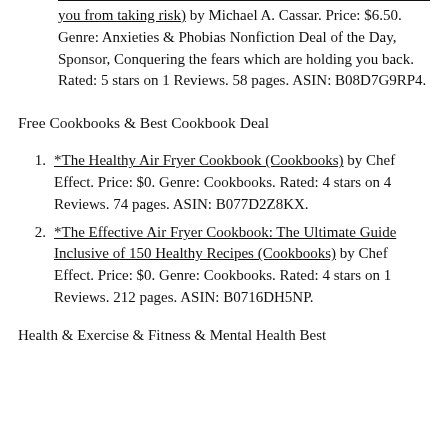you from taking risk) by Michael A. Cassar. Price: $6.50. Genre: Anxieties & Phobias Nonfiction Deal of the Day, Sponsor, Conquering the fears which are holding you back. Rated: 5 stars on 1 Reviews. 58 pages. ASIN: B08D7G9RP4.
Free Cookbooks & Best Cookbook Deal
*The Healthy Air Fryer Cookbook (Cookbooks) by Chef Effect. Price: $0. Genre: Cookbooks. Rated: 4 stars on 4 Reviews. 74 pages. ASIN: B077D2Z8KX.
*The Effective Air Fryer Cookbook: The Ultimate Guide Inclusive of 150 Healthy Recipes (Cookbooks) by Chef Effect. Price: $0. Genre: Cookbooks. Rated: 4 stars on 1 Reviews. 212 pages. ASIN: B0716DH5NP.
Health & Exercise & Fitness & Mental Health Best